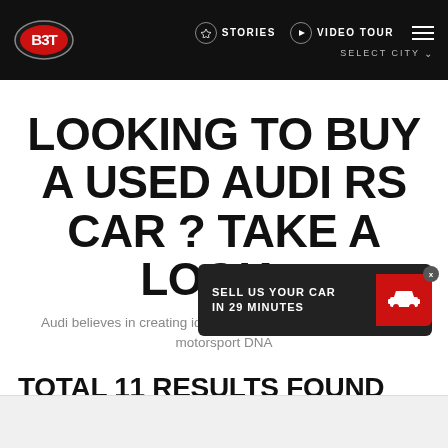BBT | STORIES | VIDEO TOUR | SELECT CITY
LOOKING TO BUY A USED AUDI RS CAR ? TAKE A LOOK...
Audi believes in creating ideals and RS Series is created with motorsport DNA
TOTAL 11 RESULTS FOUND
SELL US YOUR CAR IN 29 MINUTES